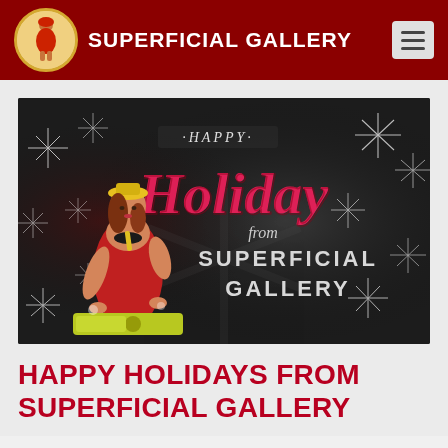SUPERFICIAL GALLERY
[Figure (illustration): Happy Holiday from Superficial Gallery promotional image with vintage pin-up woman in red dress with yellow accessories against dark snowflake background. Text reads HAPPY Holiday from SUPERFICIAL GALLERY.]
HAPPY HOLIDAYS FROM SUPERFICIAL GALLERY